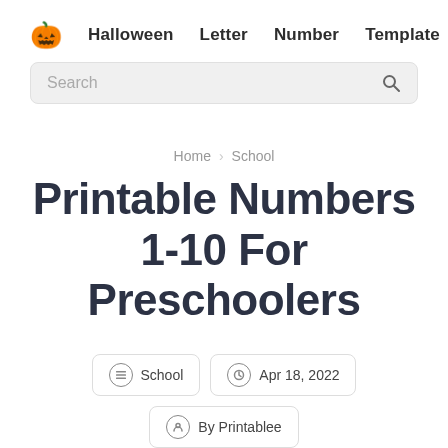🎃 Halloween  Letter  Number  Template
Search
Home / School
Printable Numbers 1-10 For Preschoolers
School  Apr 18, 2022  By Printablee  No Comment